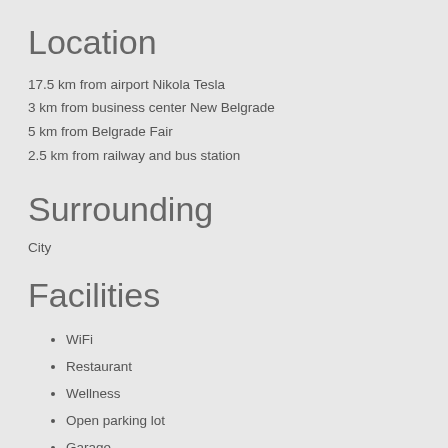Location
17.5 km from airport Nikola Tesla
3 km from business center New Belgrade
5 km from Belgrade Fair
2.5 km from railway and bus station
Surrounding
City
Facilities
WiFi
Restaurant
Wellness
Open parking lot
Garage
Special need facilities
Pet friendly
Business center